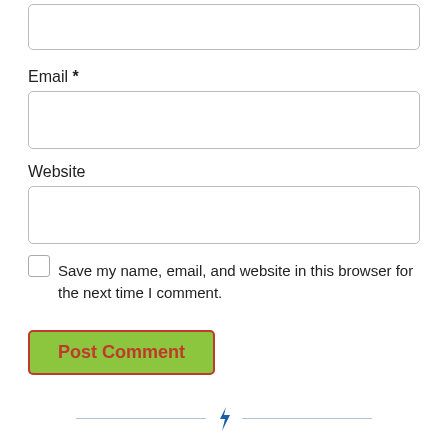[Figure (screenshot): Empty text input field (top, partially visible)]
Email *
[Figure (screenshot): Email input field (empty, rounded rectangle border)]
Website
[Figure (screenshot): Website input field (empty, rounded rectangle border)]
Save my name, email, and website in this browser for the next time I comment.
[Figure (screenshot): Post Comment button (green background, red/orange text, red border)]
[Figure (illustration): Horizontal divider with a blue lightning bolt icon in the center]
More articles you may find